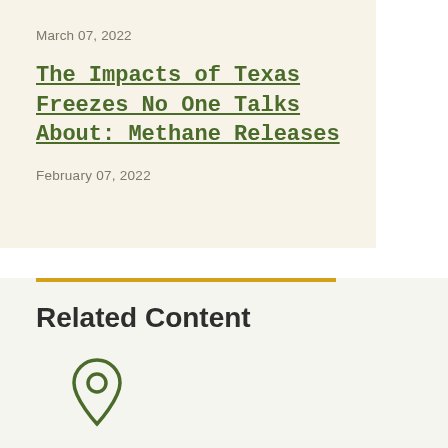March 07, 2022
The Impacts of Texas Freezes No One Talks About: Methane Releases
February 07, 2022
Related Content
[Figure (illustration): Location pin / map marker icon in olive green outline style]